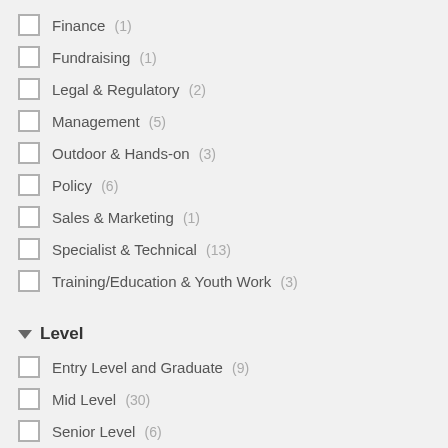Finance (1)
Fundraising (1)
Legal & Regulatory (2)
Management (5)
Outdoor & Hands-on (3)
Policy (6)
Sales & Marketing (1)
Specialist & Technical (13)
Training/Education & Youth Work (3)
Level
Entry Level and Graduate (9)
Mid Level (30)
Senior Level (6)
Full/Part-time
Full Time (25)
Part Time (11)